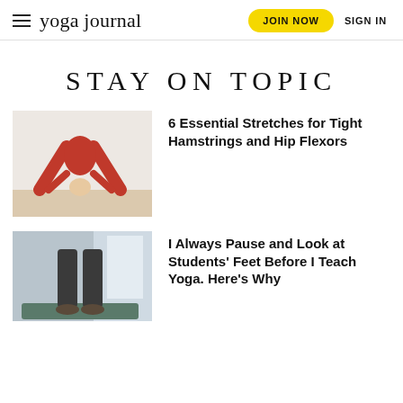yoga journal   JOIN NOW   SIGN IN
STAY ON TOPIC
[Figure (photo): Person in red outfit doing a deep forward fold yoga pose on a wooden floor, viewed from the side]
6 Essential Stretches for Tight Hamstrings and Hip Flexors
[Figure (photo): Person standing near a window, legs visible from knees down, yoga mat on floor]
I Always Pause and Look at Students' Feet Before I Teach Yoga. Here's Why